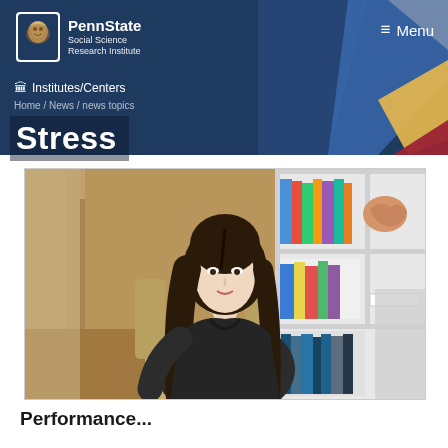[Figure (screenshot): Penn State Social Science Research Institute website header with dark blue background, Penn State lion shield logo, institution name, hamburger menu, geometric colored shapes (blue, grey, yellow, red) in top right, Institutes/Centers navigation link, breadcrumb Home / News / news topics, and large white 'Stress' title text]
[Figure (photo): Photo of a young woman with long dark hair wearing a dark top, seated in an armchair in front of a white bookshelf filled with books and a brain model]
Performance...